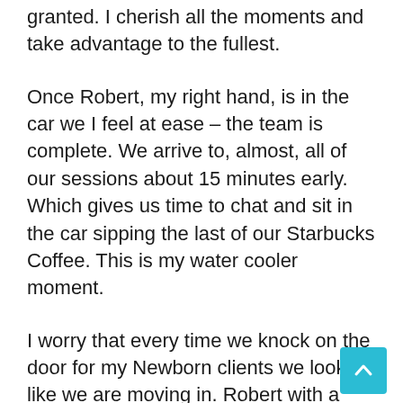granted. I cherish all the moments and take advantage to the fullest.
Once Robert, my right hand, is in the car we I feel at ease – the team is complete. We arrive to, almost, all of our sessions about 15 minutes early. Which gives us time to chat and sit in the car sipping the last of our Starbucks Coffee. This is my water cooler moment.
I worry that every time we knock on the door for my Newborn clients we look like we are moving in. Robert with a rolling suitcase, me with a huge box, a duffle bag and camera bag strapped to my body – we must look ridiculous. All the same, we are there, pack it